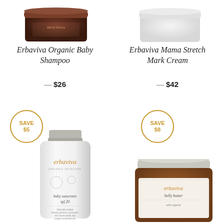[Figure (photo): Erbaviva Organic Baby Shampoo product - dark amber glass jar, top portion visible]
[Figure (photo): Erbaviva Mama Stretch Mark Cream product - white jar, top portion visible]
Erbaviva Organic Baby Shampoo
— $26
Erbaviva Mama Stretch Mark Cream
— $42
SAVE $5
SAVE $8
[Figure (photo): Erbaviva baby sunscreen SPF 20 tube - white squeeze tube with orange erbaviva logo and baby illustration]
[Figure (photo): Erbaviva belly butter jar - amber glass jar with white lid and erbaviva label]